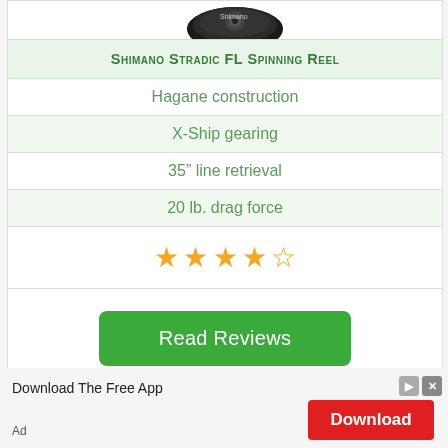[Figure (photo): Partial image of Shimano Stradic FL Spinning Reel at top of card]
Shimano Stradic FL Spinning Reel
Hagane construction
X-Ship gearing
35” line retrieval
20 lb. drag force
[Figure (other): 4.5 out of 5 stars rating shown as orange star icons]
Read Reviews
Download The Free App
Download
Ad